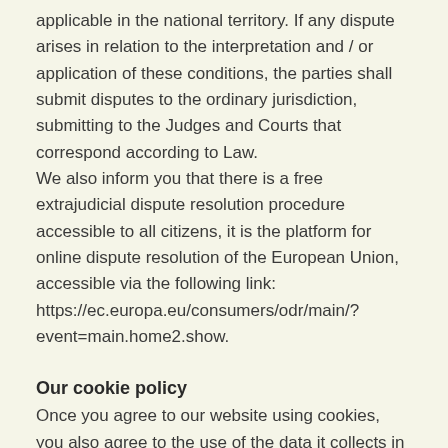applicable in the national territory. If any dispute arises in relation to the interpretation and / or application of these conditions, the parties shall submit disputes to the ordinary jurisdiction, submitting to the Judges and Courts that correspond according to Law. We also inform you that there is a free extrajudicial dispute resolution procedure accessible to all citizens, it is the platform for online dispute resolution of the European Union, accessible via the following link: https://ec.europa.eu/consumers/odr/main/?event=main.home2.show.
Our cookie policy
Once you agree to our website using cookies, you also agree to the use of the data it collects in relation to your online behavior (analyzing web traffic, the web pages you spend the most time on and the websites you visit).